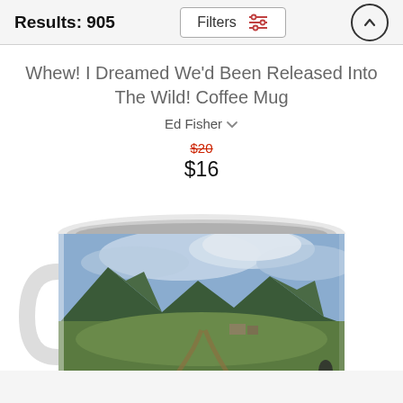Results: 905
Filters
Whew! I Dreamed We'd Been Released Into The Wild! Coffee Mug
Ed Fisher
$20 (strikethrough)
$16
[Figure (photo): A white ceramic coffee mug with a landscape photo printed on it, showing green fields, mountains in the background, cloudy sky, a dirt road, and a person with a motorcycle in the foreground.]